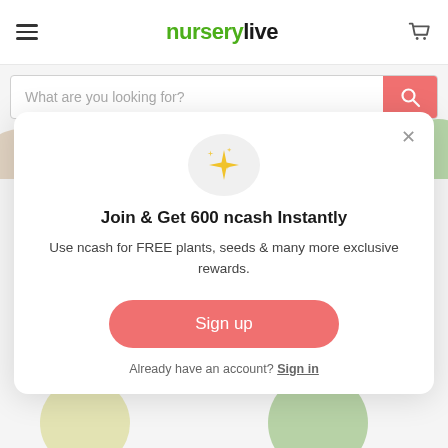nurserylive
What are you looking for?
[Figure (screenshot): Popup modal on nurserylive website showing sparkle icon, promotional text about joining to get 600 ncash, sign up button, and sign in link]
Join & Get 600 ncash Instantly
Use ncash for FREE plants, seeds & many more exclusive rewards.
Sign up
Already have an account? Sign in